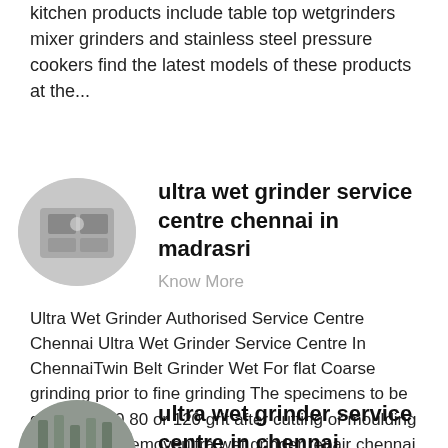kitchen products include table top wetgrinders mixer grinders and stainless steel pressure cookers find the latest models of these products at the...
ultra wet grinder service centre chennai in madrasri
Know More
Ultra Wet Grinder Authorised Service Centre Chennai Ultra Wet Grinder Service Centre In ChennaiTwin Belt Grinder Wet For flat Coarse grinding prior to fine grinding The specimens to be ground in 60 80 or 120 grit after cutting or moulding operation to removeultra wet grinder repair chennai ultra wet grinder service center chennai ultra wet grinder maintenance ,...
ultra wet grinder service centre in chennai